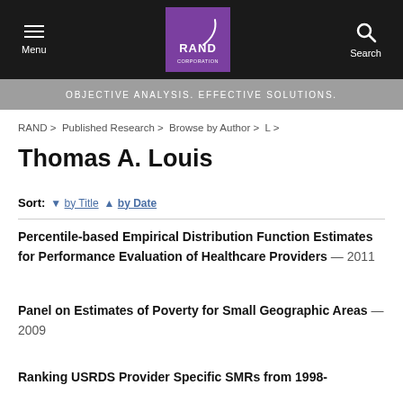Menu | RAND Corporation | Search
OBJECTIVE ANALYSIS. EFFECTIVE SOLUTIONS.
RAND > Published Research > Browse by Author > L >
Thomas A. Louis
Sort: by Title by Date
Percentile-based Empirical Distribution Function Estimates for Performance Evaluation of Healthcare Providers — 2011
Panel on Estimates of Poverty for Small Geographic Areas — 2009
Ranking USRDS Provider Specific SMRs from 1998-